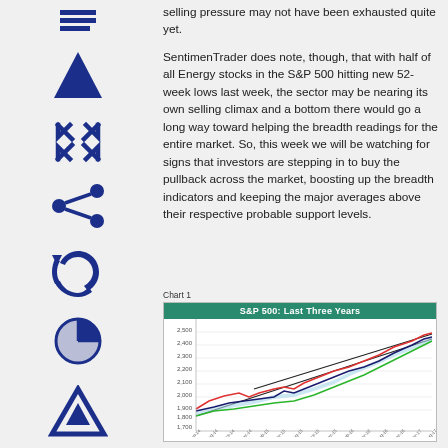selling pressure may not have been exhausted quite yet.
SentimenTrader does note, though, that with half of all Energy stocks in the S&P 500 hitting new 52-week lows last week, the sector may be nearing its own selling climax and a bottom there would go a long way toward helping the breadth readings for the entire market. So, this week we will be watching for signs that investors are stepping in to buy the pullback across the market, boosting up the breadth indicators and keeping the major averages above their respective probable support levels.
Chart 1
[Figure (line-chart): Line chart showing S&P 500 over the last three years from Jun-14 to Aug-17, with multiple colored lines (red, dark, green) and a shaded blue area, plus diagonal trend lines, ranging from about 1700 to 2500.]